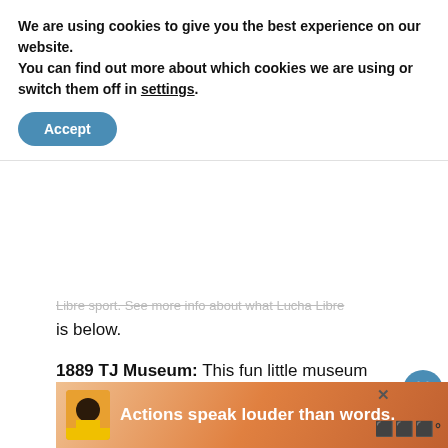We are using cookies to give you the best experience on our website.
You can find out more about which cookies we are using or switch them off in settings.
Accept
Libre sport. See more info about what Lucha Libre is below.
1889 TJ Museum: This fun little museum may not look like much at first glance, but it is filled with curiosities and fun stories about the history of Tijuana, such as the Tijuana donkey. And the best part? It supports a good cause: The founders use the entrance fee and donations to bring the Tijuana donkey to children's hospitals to cheer
[Figure (infographic): Heart icon button with 135 likes and share icon]
[Figure (screenshot): What's Next panel: Unique Things to Do in San... with thumbnail]
[Figure (infographic): Advertisement banner: Actions speak louder than words.]